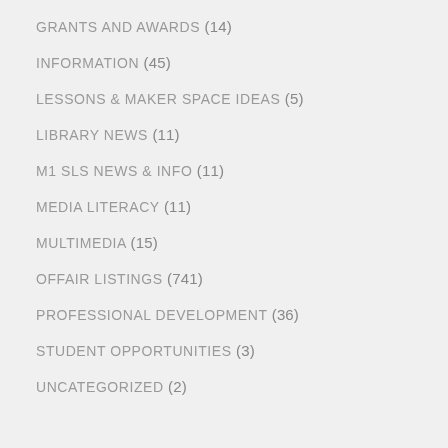GRANTS AND AWARDS (14)
INFORMATION (45)
LESSONS & MAKER SPACE IDEAS (5)
LIBRARY NEWS (11)
M1 SLS NEWS & INFO (11)
MEDIA LITERACY (11)
MULTIMEDIA (15)
OFFAIR LISTINGS (741)
PROFESSIONAL DEVELOPMENT (36)
STUDENT OPPORTUNITIES (3)
UNCATEGORIZED (2)